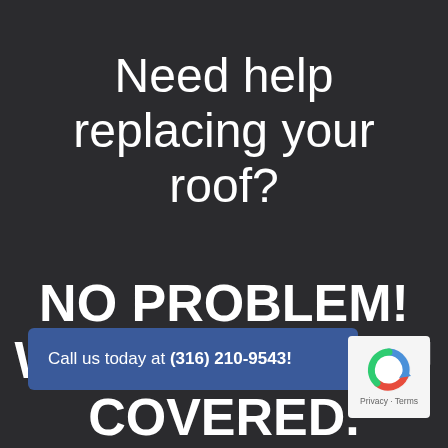Need help replacing your roof?
NO PROBLEM! WE'VE GOT YOU COVERED.
Call us today at (316) 210-9543!
[Figure (logo): reCAPTCHA logo badge with Privacy and Terms text]